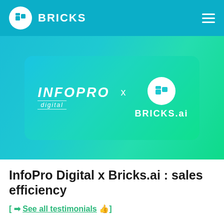BRICKS
[Figure (logo): InfoPro Digital x BRICKS.ai partnership banner logo on teal/green gradient background]
InfoPro Digital x Bricks.ai : sales efficiency
[ ➡ See all testimonials 👍]